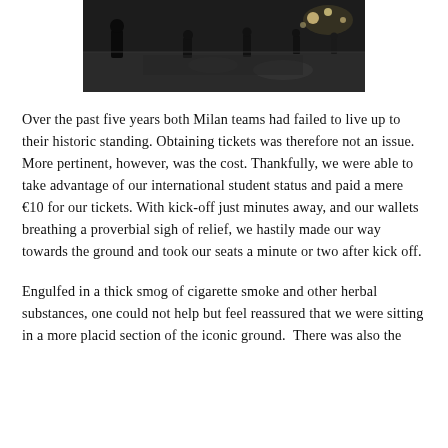[Figure (photo): A dark nighttime outdoor photo showing people walking on a path or promenade, likely near a stadium or waterfront. The scene is dimly lit with some lights visible in the background.]
Over the past five years both Milan teams had failed to live up to their historic standing. Obtaining tickets was therefore not an issue. More pertinent, however, was the cost. Thankfully, we were able to take advantage of our international student status and paid a mere €10 for our tickets. With kick-off just minutes away, and our wallets breathing a proverbial sigh of relief, we hastily made our way towards the ground and took our seats a minute or two after kick off.
Engulfed in a thick smog of cigarette smoke and other herbal substances, one could not help but feel reassured that we were sitting in a more placid section of the iconic ground. There was also the